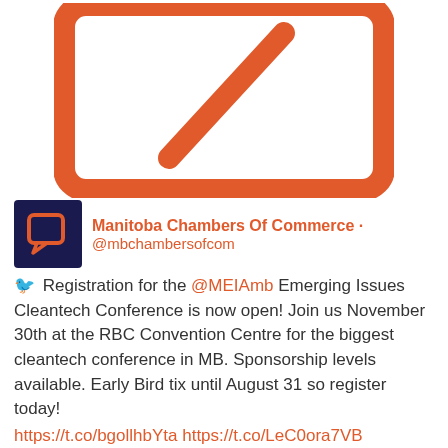[Figure (illustration): Large orange icon of a document/notepad with a pencil/slash mark, representing a tweet or compose icon]
Manitoba Chambers Of Commerce · @mbchambersofcom — Registration for the @MEIAmb Emerging Issues Cleantech Conference is now open! Join us November 30th at the RBC Convention Centre for the biggest cleantech conference in MB. Sponsorship levels available. Early Bird tix until August 31 so register today! https://t.co/bgollhbYta https://t.co/LeC0ora7VB